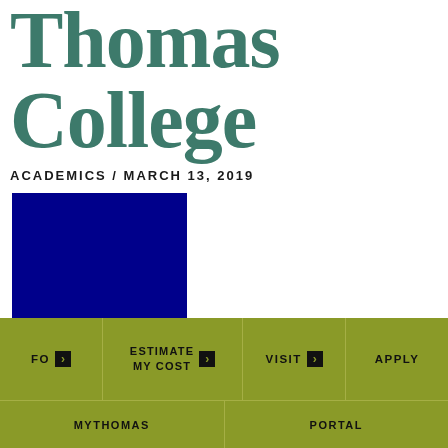Thomas College
ACADEMICS / MARCH 13, 2019
[Figure (photo): Dark navy blue rectangular image placeholder]
FO > | ESTIMATE MY COST > | VISIT > | APPLY | MYTHOMAS | PORTAL